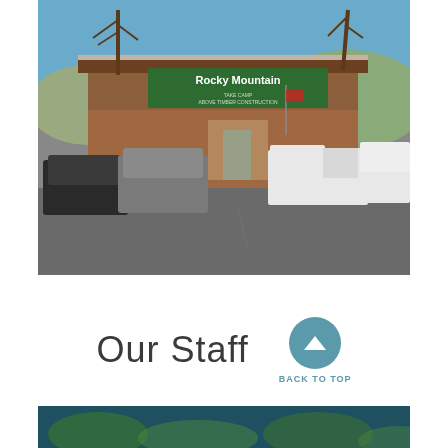[Figure (photo): Exterior photo of Rocky Mountain building with green sign reading 'Rocky Mountain' above, several pickup trucks and SUVs parked in the lot in front, bare winter trees visible, blue sky background.]
Our Staff
BACK TO TOP
[Figure (photo): Partial photo at bottom of page showing green foliage/landscape with dark teal/blue header bar.]